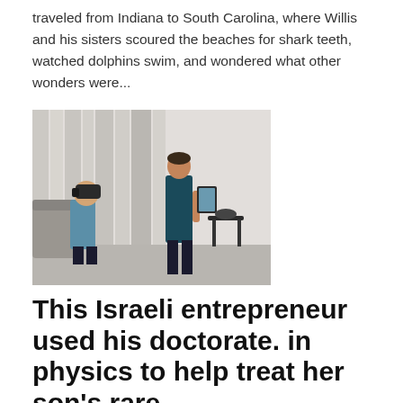traveled from Indiana to South Carolina, where Willis and his sisters scoured the beaches for shark teeth, watched dolphins swim, and wondered what other wonders were...
[Figure (photo): A person seated wearing a VR or medical headset device, with another person standing beside them holding a tablet, in a hotel or clinic room setting.]
This Israeli entrepreneur used his doctorate. in physics to help treat her son's rare...
Raymond D. Gr...   Aug 23, 2021
Often times when we speak with entrepreneurs about the origin story of their innovation, they tell us how they recognized